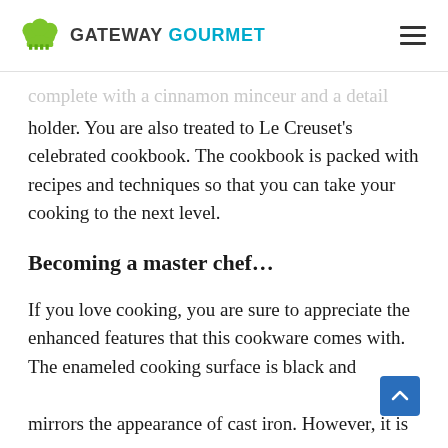GATEWAY GOURMET
complete with a cinnamon minceur and a detail holder. You are also treated to Le Creuset's celebrated cookbook. The cookbook is packed with recipes and techniques so that you can take your cooking to the next level.
Becoming a master chef…
If you love cooking, you are sure to appreciate the enhanced features that this cookware comes with. The enameled cooking surface is black and mirrors the appearance of cast iron. However, it is